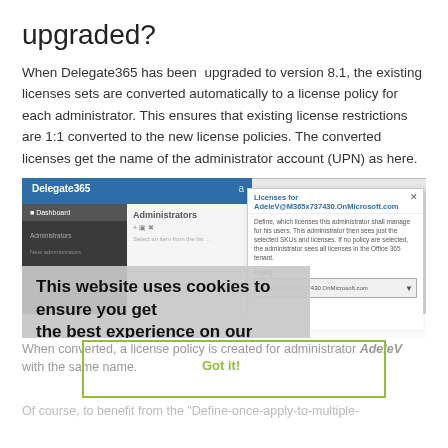upgraded?
When Delegate365 has been upgraded to version 8.1, the existing licenses sets are converted automatically to a license policy for each administrator. This ensures that existing license restrictions are 1:1 converted to the new license policies. The converted licenses get the name of the administrator account (UPN) as here.
[Figure (screenshot): Screenshot of Delegate365 admin interface showing Administrators page and a Licenses modal dialog, overlaid by a cookie consent banner with 'This website uses cookies to ensure you get the best experience on our website. Learn more' text and a 'Got it!' button.]
When converted, a license policy is created for administrator AdeleV with the same name.
Of course, to benefit from the "Define-once-apply-to-multiple-